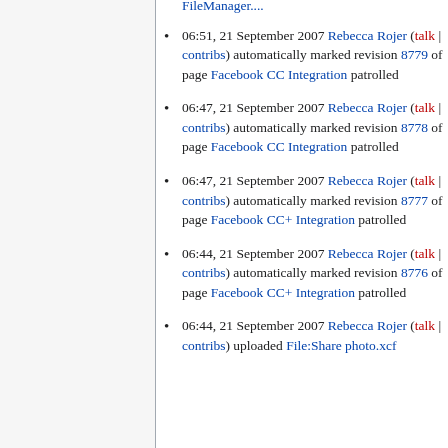06:51, 21 September 2007 Rebecca Rojer (talk | contribs) automatically marked revision 8779 of page Facebook CC Integration patrolled
06:47, 21 September 2007 Rebecca Rojer (talk | contribs) automatically marked revision 8778 of page Facebook CC Integration patrolled
06:47, 21 September 2007 Rebecca Rojer (talk | contribs) automatically marked revision 8777 of page Facebook CC+ Integration patrolled
06:44, 21 September 2007 Rebecca Rojer (talk | contribs) automatically marked revision 8776 of page Facebook CC+ Integration patrolled
06:44, 21 September 2007 Rebecca Rojer (talk | contribs) uploaded File:Share photo.xcf